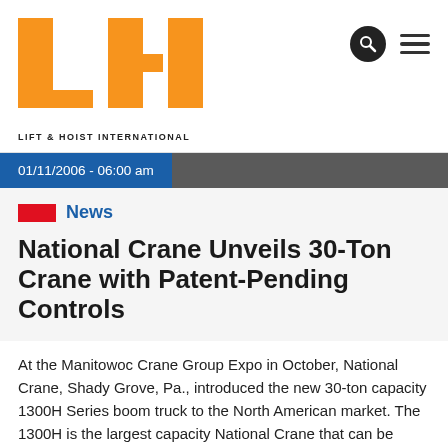[Figure (logo): LHI - Lift & Hoist International logo in orange and dark text]
01/11/2006 - 06:00 am
News
National Crane Unveils 30-Ton Crane with Patent-Pending Controls
At the Manitowoc Crane Group Expo in October, National Crane, Shady Grove, Pa., introduced the new 30-ton capacity 1300H Series boom truck to the North American market. The 1300H is the largest capacity National Crane that can be mounted on a three-axle truck, while maintaining an overall vehicle length of 40 feet and